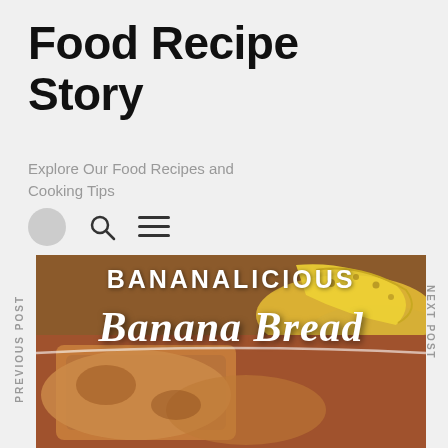Food Recipe Story
Explore Our Food Recipes and Cooking Tips
[Figure (screenshot): Navigation bar with circle avatar, search icon, and hamburger menu icon]
PREVIOUS POST
NEXT POST
[Figure (photo): Banana bread photo with text overlay 'BANANALICIOUS Banana Bread' showing sliced banana bread loaf and bananas in background]